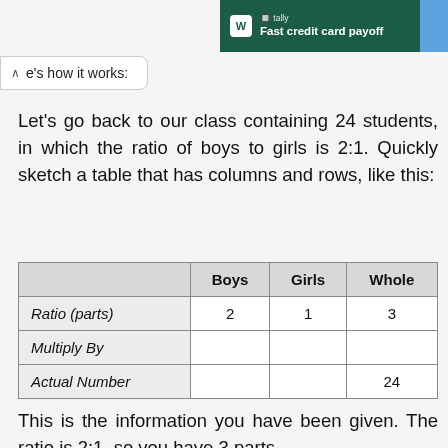[Figure (other): Tally app advertisement banner: 'Fast credit card payoff']
e's how it works:
Let's go back to our class containing 24 students, in which the ratio of boys to girls is 2:1. Quickly sketch a table that has columns and rows, like this:
|  | Boys | Girls | Whole |
| --- | --- | --- | --- |
| Ratio (parts) | 2 | 1 | 3 |
| Multiply By |  |  |  |
| Actual Number |  |  | 24 |
This is the information you have been given. The ratio is 2:1, so you have 3 parts